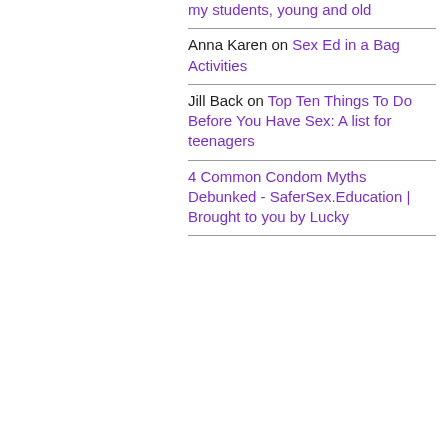my students, young and old
Anna Karen on Sex Ed in a Bag Activities
Jill Back on Top Ten Things To Do Before You Have Sex: A list for teenagers
4 Common Condom Myths Debunked - SaferSex.Education | Brought to you by Lucky